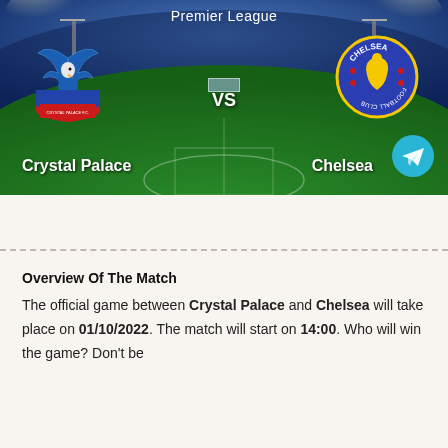[Figure (photo): Premier League match graphic showing Crystal Palace vs Chelsea on a football stadium background. Crystal Palace badge on the left, Chelsea badge on the right, 'VS' in the center, team names in white bold text at the bottom. A cyan Telegram button icon is in the bottom right corner.]
Overview Of The Match
The official game between Crystal Palace and Chelsea will take place on 01/10/2022. The match will start on 14:00. Who will win the game? Don't be